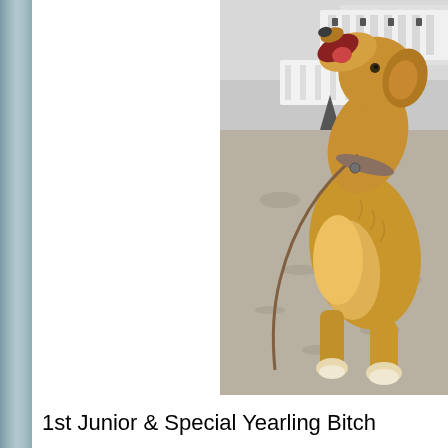[Figure (photo): A golden retriever dog on a lead, head raised upward with mouth open, standing on a sandy/gravelly surface at what appears to be a dog show. White barriers visible in the background.]
1st Junior & Special Yearling Bitch